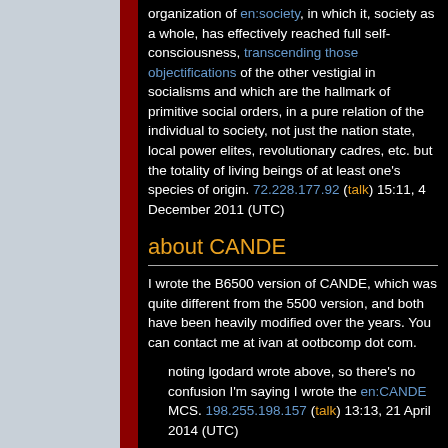organization of en:society, in which it, society as a whole, has effectively reached full self-consciousness, transcending those objectifications of the other vestigial in socialisms and which are the hallmark of primitive social orders, in a pure relation of the individual to society, not just the nation state, local power elites, revolutionary cadres, etc. but the totality of living beings of at least one's species of origin. 72.228.177.92 (talk) 15:11, 4 December 2011 (UTC)
about CANDE
I wrote the B6500 version of CANDE, which was quite different from the 5500 version, and both have been heavily modified over the years. You can contact me at ivan at ootbcomp dot com.
noting lgodard wrote above, so there's no confusion I'm saying I wrote the en:CANDE MCS. 198.255.198.157 (talk) 13:13, 21 April 2014 (UTC)